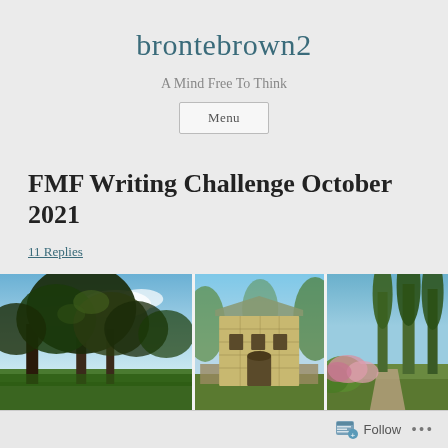brontebrown2
A Mind Free To Think
Menu
FMF Writing Challenge October 2021
11 Replies
[Figure (photo): Three outdoor photographs side-by-side: left shows large trees against a sky; center shows an old stone building; right shows tall trees and garden path.]
Follow ...